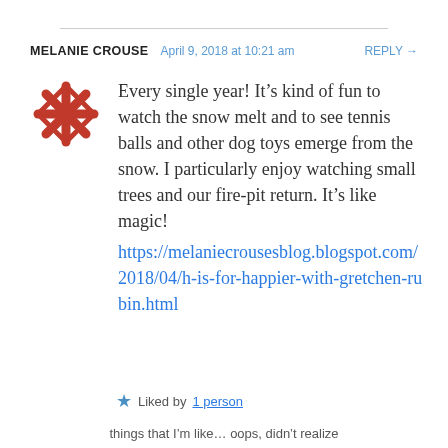MELANIE CROUSE  April 9, 2018 at 10:21 am  REPLY →
[Figure (logo): Red snowflake/asterisk decorative avatar icon]
Every single year! It's kind of fun to watch the snow melt and to see tennis balls and other dog toys emerge from the snow. I particularly enjoy watching small trees and our fire-pit return. It's like magic! https://melaniecrousesblog.blogspot.com/2018/04/h-is-for-happier-with-gretchen-rubin.html
★ Liked by 1 person
Privacy & Cookies: This site uses cookies. By continuing to use this website, you agree to their use. To find out more, including how to control cookies, see here: Our Cookie Policy
Close and accept
things that I'm like… oops, didn't realize